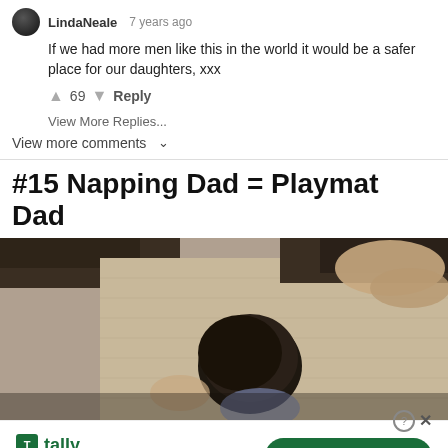LindaNeale · 7 years ago
If we had more men like this in the world it would be a safer place for our daughters, xxx
↑ 69 ↓ Reply
View More Replies...
View more comments ∨
#15 Napping Dad = Playmat Dad
[Figure (photo): A baby or young child lying face-down on a carpeted floor, viewed from above, with an adult partially visible in the background.]
tally Fast credit card payoff  Download Now →